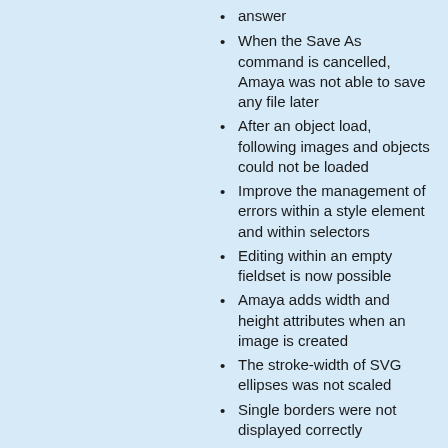answer
When the Save As command is cancelled, Amaya was not able to save any file later
After an object load, following images and objects could not be loaded
Improve the management of errors within a style element and within selectors
Editing within an empty fieldset is now possible
Amaya adds width and height attributes when an image is created
The stroke-width of SVG ellipses was not scaled
Single borders were not displayed correctly